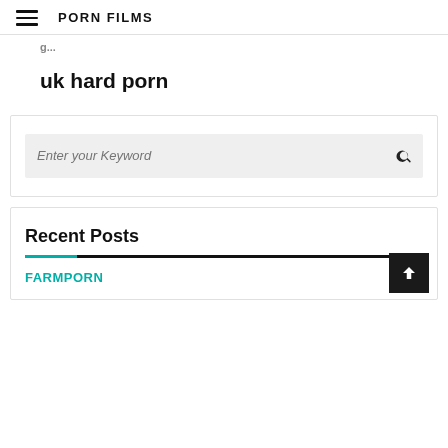PORN FILMS
uk hard porn
Enter your Keyword
Recent Posts
FARMPORN